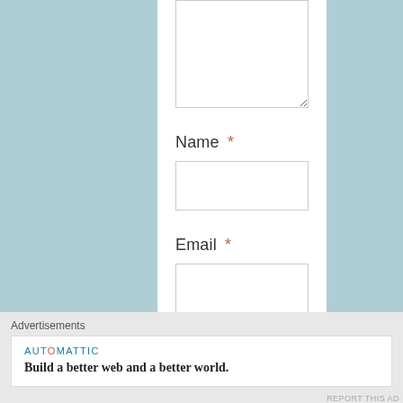[Figure (screenshot): Textarea input box (comment field) at top of form]
Name *
[Figure (screenshot): Name text input field]
Email *
[Figure (screenshot): Email text input field]
Website
Advertisements
AUTOMATTIC
Build a better web and a better world.
REPORT THIS AD